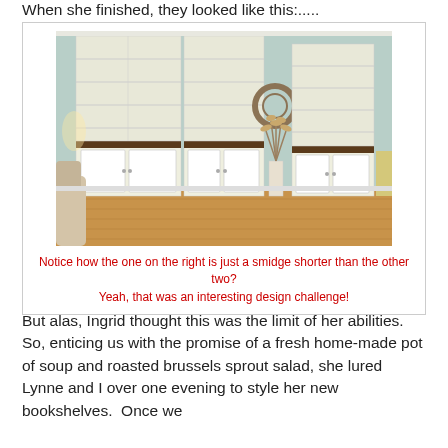When she finished, they looked like this:.....
[Figure (photo): Photo of three white painted bookcases/hutches with open shelving on top and cabinet doors on bottom, arranged in a room with light blue-green walls and hardwood floors. A wreath and dried plant arrangement are visible between the units.]
Notice how the one on the right is just a smidge shorter than the other two?
Yeah, that was an interesting design challenge!
But alas, Ingrid thought this was the limit of her abilities.  So, enticing us with the promise of a fresh home-made pot of soup and roasted brussels sprout salad, she lured Lynne and I over one evening to style her new bookshelves.  Once we